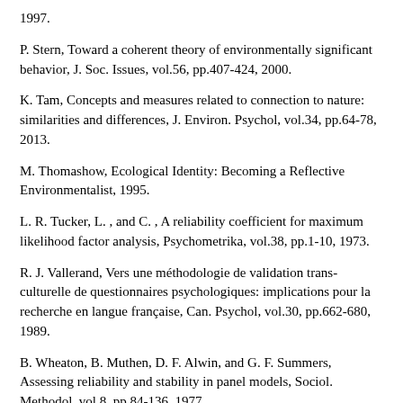1997.
P. Stern, Toward a coherent theory of environmentally significant behavior, J. Soc. Issues, vol.56, pp.407-424, 2000.
K. Tam, Concepts and measures related to connection to nature: similarities and differences, J. Environ. Psychol, vol.34, pp.64-78, 2013.
M. Thomashow, Ecological Identity: Becoming a Reflective Environmentalist, 1995.
L. R. Tucker, L. , and C. , A reliability coefficient for maximum likelihood factor analysis, Psychometrika, vol.38, pp.1-10, 1973.
R. J. Vallerand, Vers une méthodologie de validation trans-culturelle de questionnaires psychologiques: implications pour la recherche en langue française, Can. Psychol, vol.30, pp.662-680, 1989.
B. Wheaton, B. Muthen, D. F. Alwin, and G. F. Summers, Assessing reliability and stability in panel models, Sociol. Methodol, vol.8, pp.84-136, 1977.
E. O. Wilson, , 1984.